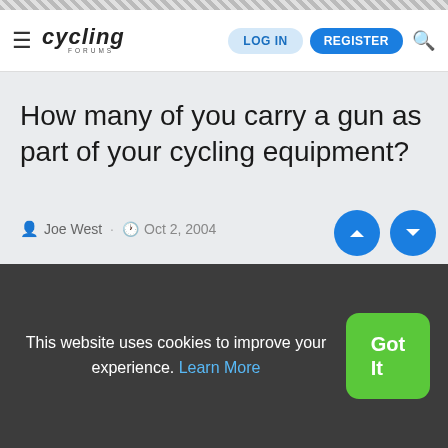CYCLING FORUMS — LOG IN | REGISTER
How many of you carry a gun as part of your cycling equipment?
Joe West · Oct 2, 2004
This website uses cookies to improve your experience. Learn More